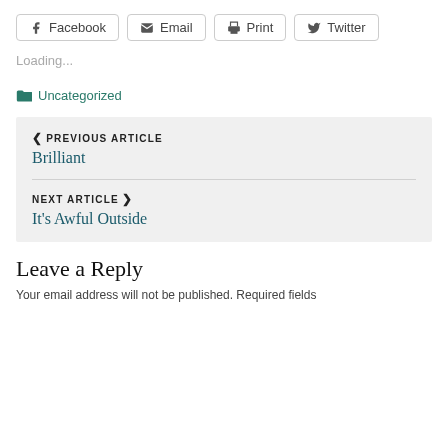Facebook  Email  Print  Twitter
Loading...
Uncategorized
PREVIOUS ARTICLE
Brilliant
NEXT ARTICLE
It's Awful Outside
Leave a Reply
Your email address will not be published. Required fields